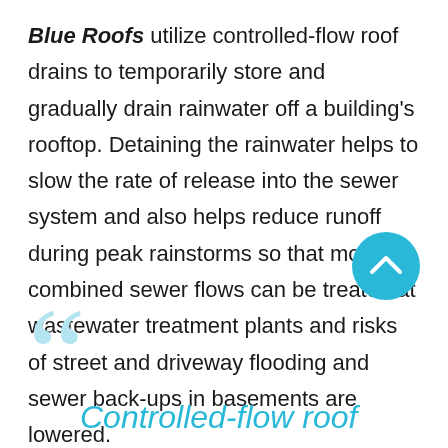Blue Roofs utilize controlled-flow roof drains to temporarily store and gradually drain rainwater off a building's rooftop. Detaining the rainwater helps to slow the rate of release into the sewer system and also helps reduce runoff during peak rainstorms so that more combined sewer flows can be treated at wastewater treatment plants and risks of street and driveway flooding and sewer back-ups in basements are lowered.
[Figure (other): Cyan circular button with upward chevron arrow icon]
[Figure (illustration): Large light-blue quotation mark decorative element at bottom left]
Controlled-flow roof